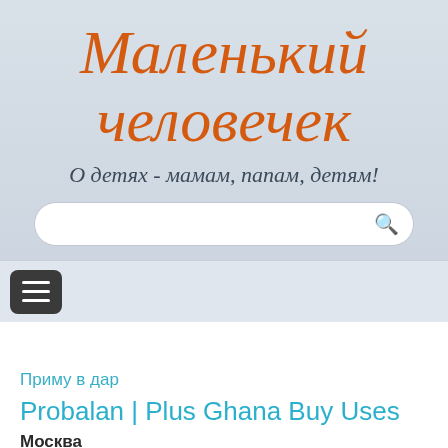Маленький человечек
О детях - мамам, папам, детям!
[Figure (other): Search bar with magnifying glass icon]
[Figure (other): Navigation hamburger menu button]
Приму в дар
Probalan | Plus Ghana Buy Uses
Москва
[Figure (photo): Article thumbnail image with teal/dark teal coloring]